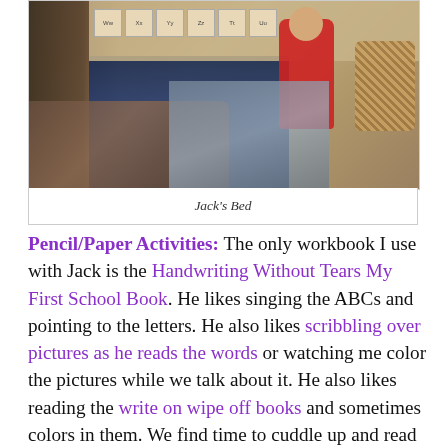[Figure (photo): A child's bedroom with clothes and blankets draped over a bed, alphabet cards on the wall, a child in a red shirt sitting on the bed, and a wicker basket to the right.]
Jack's Bed
Pencil/Paper Activities: The only workbook I use with Jack is the Handwriting Without Tears My First School Book. He likes singing the ABCs and pointing to the letters. He also likes scribbling over pictures as he reads the words or watching me color the pictures while we talk about it. He also likes reading the write on wipe off books and sometimes colors in them. We find time to cuddle up and read every day, mostly books about construction vehicles, and he loves it! When he was younger, he would LOVE to sit on my lap